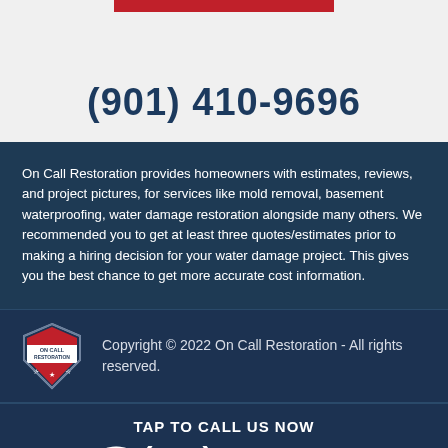(901) 410-9696
On Call Restoration provides homeowners with estimates, reviews, and project pictures, for services like mold removal, basement waterproofing, water damage restoration alongside many others. We recommended you to get at least three quotes/estimates prior to making a hiring decision for your water damage project. This gives you the best chance to get more accurate cost information.
[Figure (logo): On Call Restoration badge logo with red shield, stars, and text]
Copyright © 2022 On Call Restoration - All rights reserved.
TAP TO CALL US NOW
(901) 410-9696